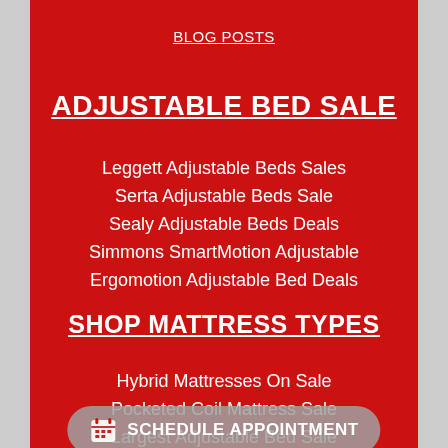BLOG POSTS
ADJUSTABLE BED SALE
Leggett Adjustable Beds Sales
Serta Adjustable Beds Sale
Sealy Adjustable Beds Deals
Simmons SmartMotion Adjustable
Ergomotion Adjustable Bed Deals
SHOP MATTRESS TYPES
Hybrid Mattresses On Sale
Pocketed Coil Mattress Sale
Largest Adjustable Bed Sale
[Figure (other): Schedule Appointment button with calendar icon]